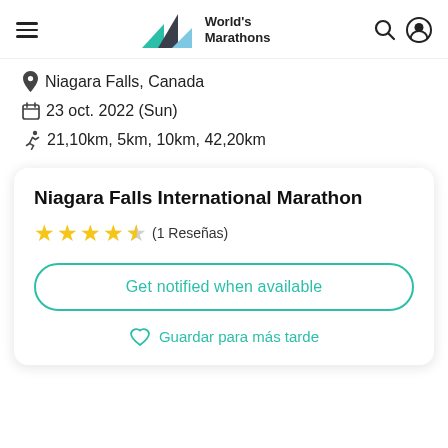World's Marathons
Niagara Falls, Canada
23 oct. 2022 (Sun)
21,10km, 5km, 10km, 42,20km
Niagara Falls International Marathon
★★★★☆ (1 Reseñas)
Get notified when available
Guardar para más tarde